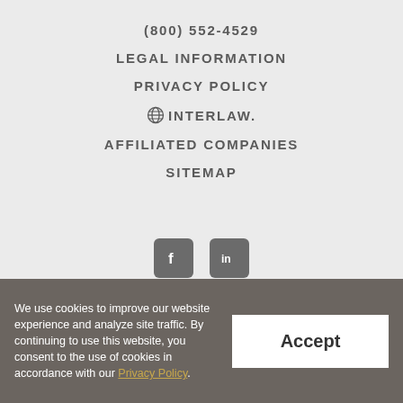(800) 552-4529
LEGAL INFORMATION
PRIVACY POLICY
⊕INTERLAW.
AFFILIATED COMPANIES
SITEMAP
[Figure (other): Facebook and LinkedIn social media icons]
We use cookies to improve our website experience and analyze site traffic. By continuing to use this website, you consent to the use of cookies in accordance with our Privacy Policy.
Accept